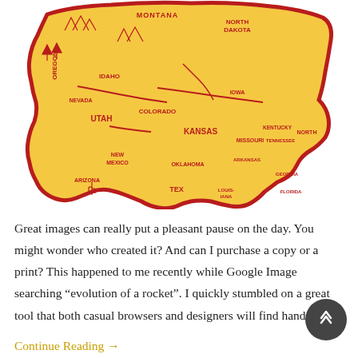[Figure (illustration): A stylized illustrated map of the United States in yellow/gold and red, showing state names and decorative icons (mountains, trees, roads, buildings) in a retro graphic art style.]
Great images can really put a pleasant pause on the day. You might wonder who created it? And can I purchase a copy or a print? This happened to me recently while Google Image searching “evolution of a rocket”. I quickly stumbled on a great tool that both casual browsers and designers will find handy.
Continue Reading →